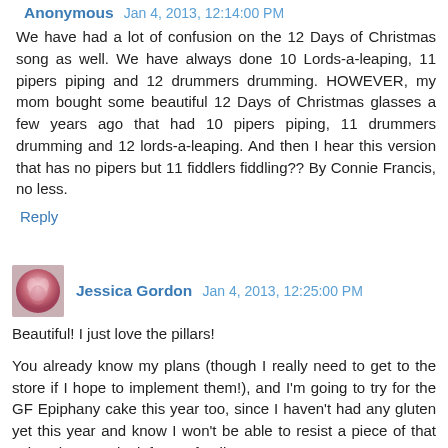Anonymous Jan 4, 2013, 12:14:00 PM
We have had a lot of confusion on the 12 Days of Christmas song as well. We have always done 10 Lords-a-leaping, 11 pipers piping and 12 drummers drumming. HOWEVER, my mom bought some beautiful 12 Days of Christmas glasses a few years ago that had 10 pipers piping, 11 drummers drumming and 12 lords-a-leaping. And then I hear this version that has no pipers but 11 fiddlers fiddling?? By Connie Francis, no less.
Reply
Jessica Gordon Jan 4, 2013, 12:25:00 PM
Beautiful! I just love the pillars!
You already know my plans (though I really need to get to the store if I hope to implement them!), and I'm going to try for the GF Epiphany cake this year too, since I haven't had any gluten yet this year and know I won't be able to resist a piece of that cake when I make it for my family!
Reply